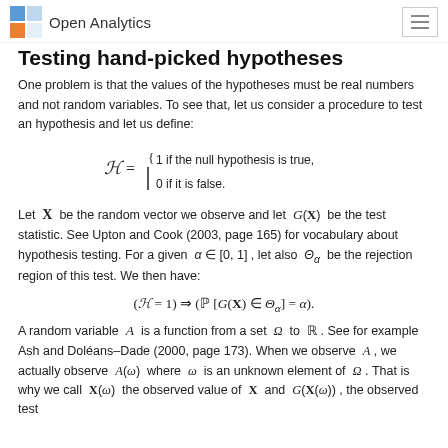Open Analytics
Testing hand-picked hypotheses
One problem is that the values of the hypotheses must be real numbers and not random variables. To see that, let us consider a procedure to test an hypothesis and let us define:
Let X be the random vector we observe and let G(X) be the test statistic. See Upton and Cook (2003, page 165) for vocabulary about hypothesis testing. For a given α ∈ [0, 1] , let also Θ_α be the rejection region of this test. We then have:
A random variable A is a function from a set Ω to ℝ . See for example Ash and Doléans–Dade (2000, page 173). When we observe A , we actually observe A(ω) where ω is an unknown element of Ω . That is why we call X(ω) the observed value of X and G(X(ω)) , the observed test